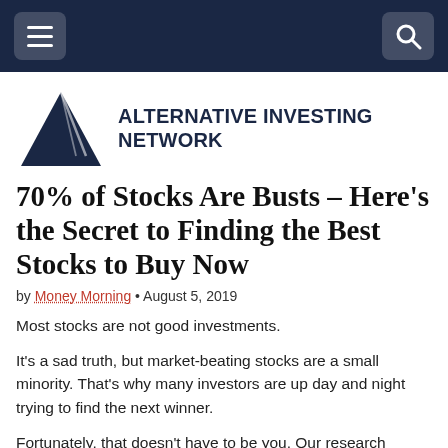Navigation bar with menu and search icons
[Figure (logo): Alternative Investing Network logo with dark blue triangle and bold uppercase text]
70% of Stocks Are Busts – Here's the Secret to Finding the Best Stocks to Buy Now
by Money Morning • August 5, 2019
Most stocks are not good investments.
It's a sad truth, but market-beating stocks are a small minority. That's why many investors are up day and night trying to find the next winner.
Fortunately, that doesn't have to be you. Our research revealed